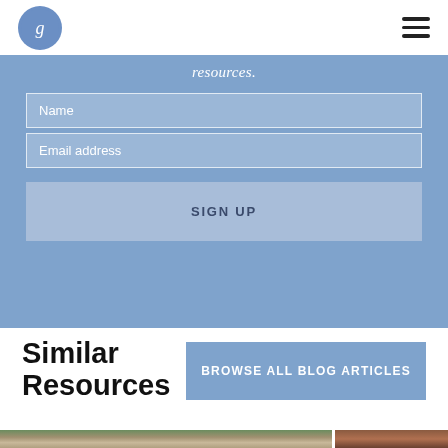resources.
Name
Email address
SIGN UP
Similar Resources
BROWSE ALL BLOG ARTICLES
[Figure (photo): Outdoor playground scene with dirt ground, trees, and what appears to be a light blue bench or table structure visible in the background]